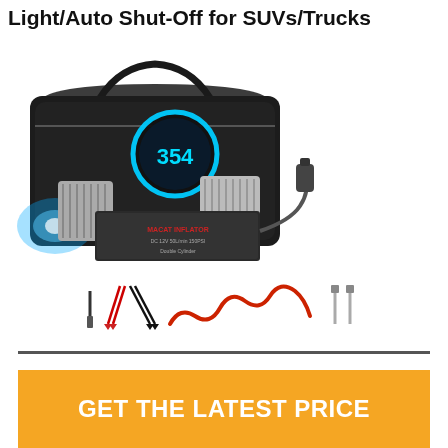Light/Auto Shut-Off for SUVs/Trucks
[Figure (photo): A dual-cylinder portable tire inflator/air compressor with a digital display glowing blue, metal cylinders, a red coiled air hose, a cigarette lighter power adapter, and accessories including jumper clamps and nozzle attachments, stored in a black carrying bag.]
GET THE LATEST PRICE